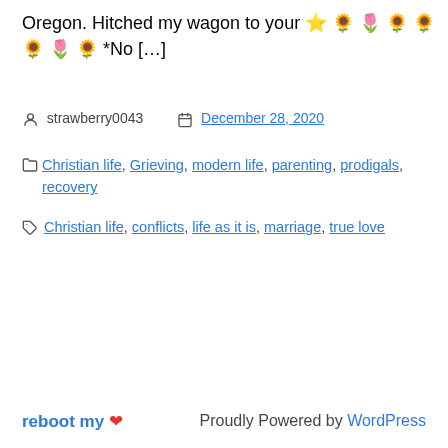Oregon. Hitched my wagon to your 🌟🌻🌷🌻🌻🌷🌻 *No […]
strawberry0043   December 28, 2020
Categories: Christian life, Grieving, modern life, parenting, prodigals, recovery
Tags: Christian life, conflicts, life as it is, marriage, true love
reboot my ❤   Proudly Powered by WordPress